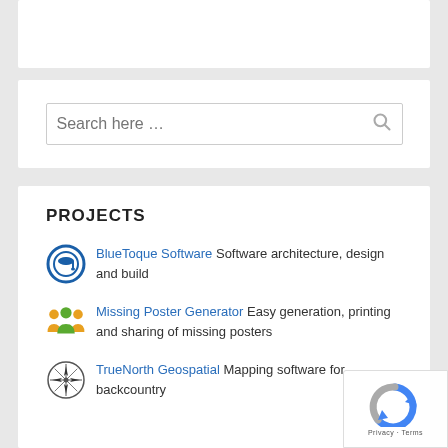[Figure (screenshot): Top partial white content box (cropped)]
[Figure (screenshot): Search bar widget with placeholder text 'Search here ...' and a magnifying glass icon]
PROJECTS
BlueToque Software Software architecture, design and build
Missing Poster Generator Easy generation, printing and sharing of missing posters
TrueNorth Geospatial Mapping software for backcountry